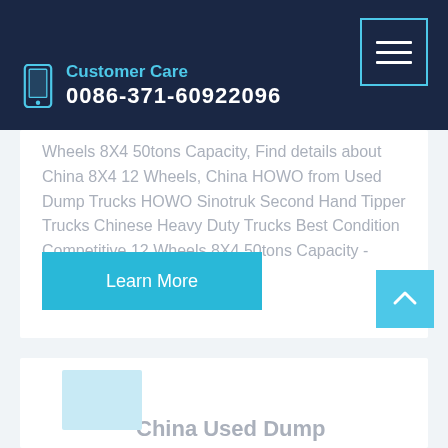Customer Care
0086-371-60922096
Wheels 8X4 50tons Capacity, Find details about China 8X4 12 Wheels, China HOWO from Used Dump Trucks HOWO Sinotruk Second Hand Tipper Trucks Chinese Heavy Duty Trucks Best Condition Competitive 12 Wheels 8X4 50tons Capacity - QINGTE GROUP ...
Learn More
China Used Dump